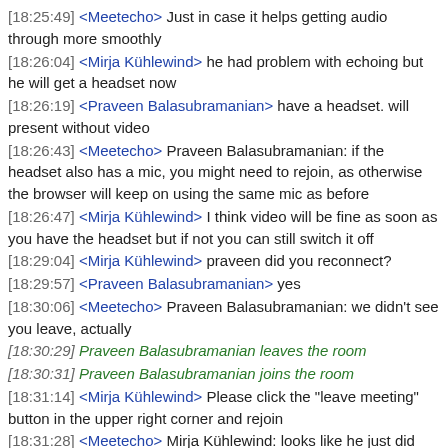[18:25:49] <Meetecho> Just in case it helps getting audio through more smoothly
[18:26:04] <Mirja Kühlewind> he had problem with echoing but he will get a headset now
[18:26:19] <Praveen Balasubramanian> have a headset. will present without video
[18:26:43] <Meetecho> Praveen Balasubramanian: if the headset also has a mic, you might need to rejoin, as otherwise the browser will keep on using the same mic as before
[18:26:47] <Mirja Kühlewind> I think video will be fine as soon as you have the headset but if not you can still switch it off
[18:29:04] <Mirja Kühlewind> praveen did you reconnect?
[18:29:57] <Praveen Balasubramanian> yes
[18:30:06] <Meetecho> Praveen Balasubramanian: we didn't see you leave, actually
[18:30:29] Praveen Balasubramanian leaves the room
[18:30:31] Praveen Balasubramanian joins the room
[18:31:14] <Mirja Kühlewind> Please click the "leave meeting" button in the upper right corner and rejoin
[18:31:28] <Meetecho> Mirja Kühlewind: looks like he just did that (y)
[18:31:34] <Mirja Kühlewind> great
[18:33:40] Praveen Balasubramanian leaves the room
[18:33:41] Tal Mizrahi joins the room
[18:34:12] Paul Cosgrove joins the room